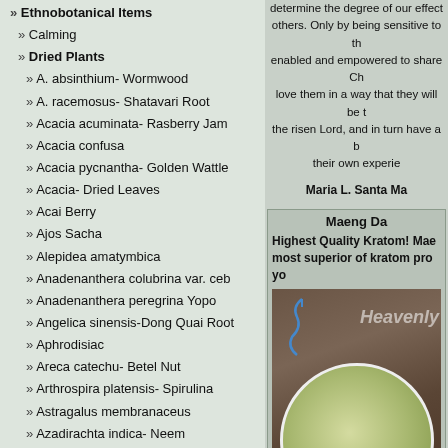» Ethnobotanical Items
» Calming
» Dried Plants
» A. absinthium- Wormwood
» A. racemosus- Shatavari Root
» Acacia acuminata- Rasberry Jam
» Acacia confusa
» Acacia pycnantha- Golden Wattle
» Acacia- Dried Leaves
» Acai Berry
» Ajos Sacha
» Alepidea amatymbica
» Anadenanthera colubrina var. ceb
» Anadenanthera peregrina Yopo
» Angelica sinensis-Dong Quai Root
» Aphrodisiac
» Areca catechu- Betel Nut
» Arthrospira platensis- Spirulina
» Astragalus membranaceus
» Azadirachta indica- Neem
» B. grandiflora- Chiric Sanango
» Bacopa monnieri- Bacopa
» Bangalala & Love Reed
» Banisteriopsis caapi
» Bee Pollen
determine the degree of our effect... others. Only by being sensitive to th... enabled and empowered to share Ch... love them in a way that they will be t... the risen Lord, and in turn have a b... their own experie...
Maria L. Santa Ma...
[Figure (other): Product box for Maeng Da Kratom showing title, description text about Highest Quality Kratom and a photo of green kratom powder in a white bowl on a dark background with Heavenly watermark]